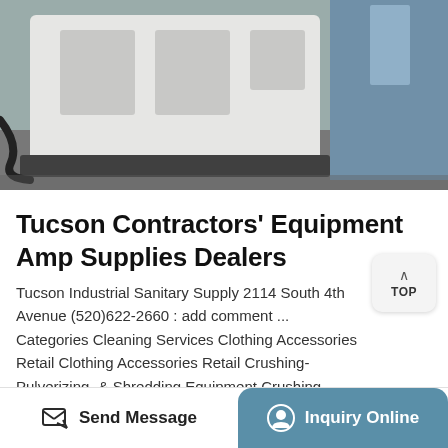[Figure (photo): Industrial equipment - large white/cream colored machines (crushers or pulverizers) on a factory floor with blue industrial equipment visible in background]
Tucson Contractors' Equipment Amp Supplies Dealers
Tucson Industrial Sanitary Supply 2114 South 4th Avenue (520)622-2660 : add comment ... Categories Cleaning Services Clothing Accessories Retail Clothing Accessories Retail Crushing-Pulverizing- & Shredding Equipment Crushing-Pulverizing- & Shredding Equipment Dealers Dealers Equipment- Parts- & Supplies Equipment-Parts- & Supplies ...
Send Message
Inquiry Online